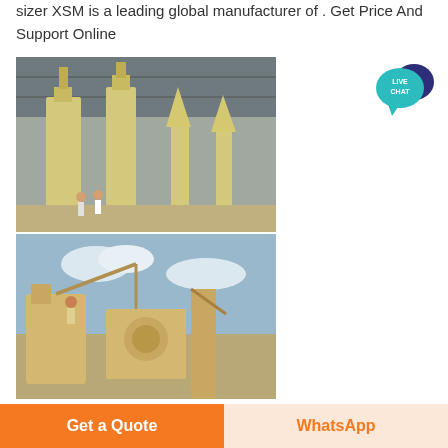sizer XSM is a leading global manufacturer of . Get Price And Support Online
[Figure (photo): Industrial grinding/milling machines inside a factory warehouse with workers standing nearby]
[Figure (photo): Outdoor industrial crushing/mineral processing equipment against a cloudy sky]
[Figure (other): Live Chat button badge in teal/blue color]
Get a Quote
WhatsApp